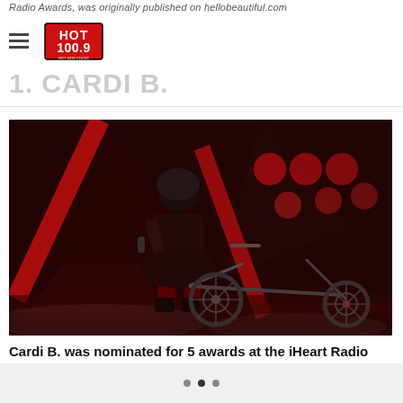Radio Awards, was originally published on hellobeautiful.com
[Figure (logo): HOT 100.9 radio station logo with red and black design]
1. CARDI B.
[Figure (photo): Cardi B performing on stage at iHeart Radio Music Awards, sitting on a motorcycle chopper prop wearing a black outfit and helmet, surrounded by red neon lights and geometric stage design]
Cardi B. was nominated for 5 awards at the iHeart Radio Music
• • •